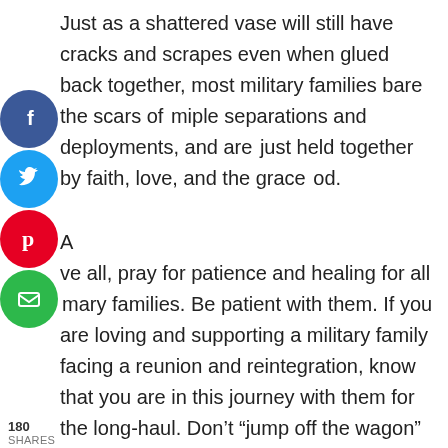Just as a shattered vase will still have cracks and scrapes even when glued back together, most military families bare the scars of multiple separations and deployments, and are just held together by faith, love, and the grace of God.

Above all, pray for patience and healing for all military families. Be patient with them. If you are loving and supporting a military family facing a reunion and reintegration, know that you are in this journey with them for the long-haul. Don't “jump off the wagon” when it gets hard. Stay by them, love them, and support
[Figure (infographic): Social media sharing icons: Facebook (dark blue circle with f), Twitter (light blue circle with bird), Pinterest (red circle with P), Email (green circle with envelope). Share count: 180 SHARES shown below the icons.]